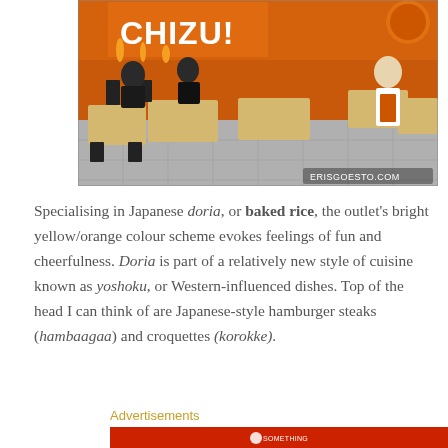[Figure (photo): Interior of a Japanese doria restaurant called Chizu, with orange walls, wooden tables, black metal chairs, customers seated, and a staff member in an orange apron. Watermark 'ERISGOESTO.COM' in bottom right.]
Specialising in Japanese doria, or baked rice, the outlet's bright yellow/orange colour scheme evokes feelings of fun and cheerfulness. Doria is part of a relatively new style of cuisine known as yoshoku, or Western-influenced dishes. Top of the head I can think of are Japanese-style hamburger steaks (hambaagaa) and croquettes (korokke).
Advertisements